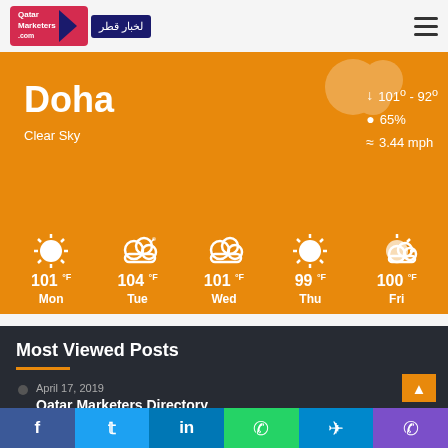[Figure (screenshot): Qatar Marketers website header with logo]
[Figure (infographic): Weather widget showing Doha weather: Clear Sky, 101°-92°, 65% humidity, 3.44 mph wind. 5-day forecast: Mon 101°F, Tue 104°F, Wed 101°F, Thu 99°F, Fri 100°F. Orange background.]
Most Viewed Posts
April 17, 2019
Qatar Marketers Directory